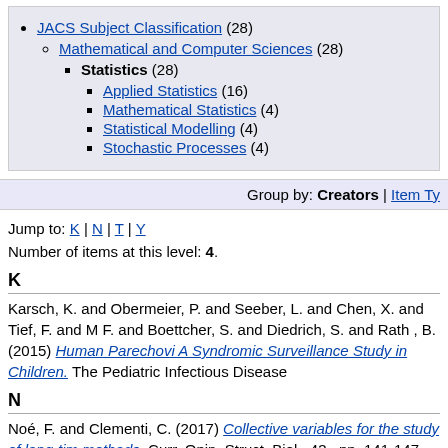JACS Subject Classification (28)
Mathematical and Computer Sciences (28)
Statistics (28)
Applied Statistics (16)
Mathematical Statistics (4)
Statistical Modelling (4)
Stochastic Processes (4)
Group by: Creators | Item Ty...
Jump to: K | N | T | Y
Number of items at this level: 4.
K
Karsch, K. and Obermeier, P. and Seeber, L. and Chen, X. and Tief, F. and M... F. and Boettcher, S. and Diedrich, S. and Rath , B. (2015) Human Parechovi... A Syndromic Surveillance Study in Children. The Pediatric Infectious Disease...
N
Noé, F. and Clementi, C. (2017) Collective variables for the study of long-tim... methods. Curr. Opin. Struct. Biol., 43 . pp. 141-147.